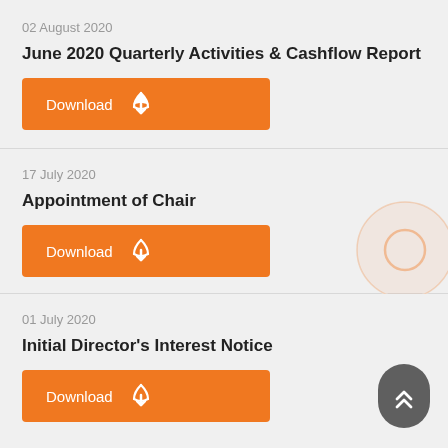02 August 2020
June 2020 Quarterly Activities & Cashflow Report
[Figure (other): Orange Download button with PDF icon]
17 July 2020
Appointment of Chair
[Figure (other): Orange Download button with PDF icon; loading spinner circle visible]
01 July 2020
Initial Director's Interest Notice
[Figure (other): Orange Download button with PDF icon; dark grey scroll-to-top button with chevrons]